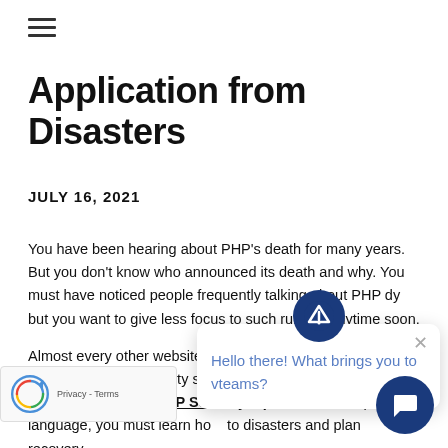≡ (hamburger menu)
Application from Disasters
JULY 16, 2021
You have been hearing about PHP's death for many years. But you don't know who announced its death and why. You must have noticed people frequently talking about PHP dy... but you want to give less focus to such rumo... anytime soon.
Almost every other website is... heart of website development. Its security should be your primary... too. This discussion is solely PHP Security Tip... since it is a popular language, you must learn ho... to disasters and plan recovery.